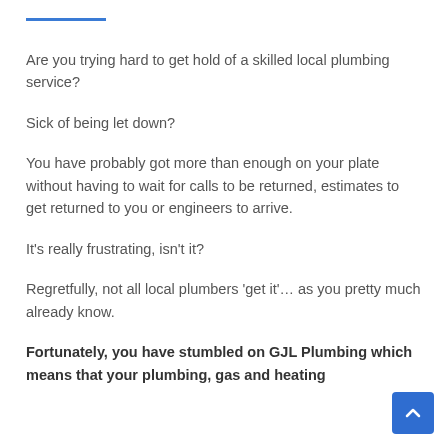Are you trying hard to get hold of a skilled local plumbing service?
Sick of being let down?
You have probably got more than enough on your plate without having to wait for calls to be returned, estimates to get returned to you or engineers to arrive.
It's really frustrating, isn't it?
Regretfully, not all local plumbers 'get it'… as you pretty much already know.
Fortunately, you have stumbled on GJL Plumbing which means that your plumbing, gas and heating